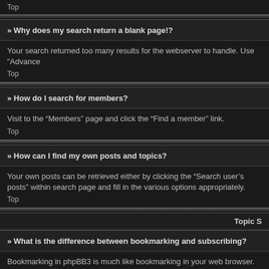Top
» Why does my search return a blank page!?
Your search returned too many results for the webserver to handle. Use "Advance
Top
» How do I search for members?
Visit to the “Members” page and click the “Find a member” link.
Top
» How can I find my own posts and topics?
Your own posts can be retrieved either by clicking the “Search user’s posts” within search page and fill in the various options appropriately.
Top
Topic S
» What is the difference between bookmarking and subscribing?
Bookmarking in phpBB3 is much like bookmarking in your web browser. You aren’t notify you when there is an update to the topic or forum on the board via your pref
Top
» How do I subscribe to specific forums or topics?